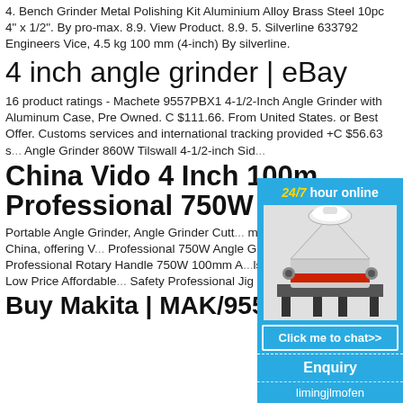4. Bench Grinder Metal Polishing Kit Aluminium Alloy Brass Steel 10pc 4" x 1/2". By pro-max. 8.9. View Product. 8.9. 5. Silverline 633792 Engineers Vice, 4.5 kg 100 mm (4-inch) By silverline.
4 inch angle grinder | eBay
16 product ratings - Machete 9557PBX1 4-1/2-Inch Angle Grinder with Aluminum Case, Pre Owned. C $111.66. From United States. or Best Offer. Customs services and international tracking provided +C $56.63 s... Angle Grinder 860W Tilswall 4-1/2-inch Sid...
China Vido 4 Inch 100m... Professional 750W Ang...
Portable Angle Grinder, Angle Grinder Cutt... manufacturer / supplier in China, offering V... Professional 750W Angle Grinder for Cuttin... Professional Rotary Handle 750W 100mm A... ls, Vido T-Handle T101ao Low Price Affordable... Safety Professional Jig Saw Blade and so o...
Buy Makita | MAK/9556...
[Figure (photo): Advertisement overlay with blue background showing a cone crusher machine, '24/7 hour online' text in yellow and white, 'Click me to chat>>' button, 'Enquiry' section, and 'limingjlmofen' username.]